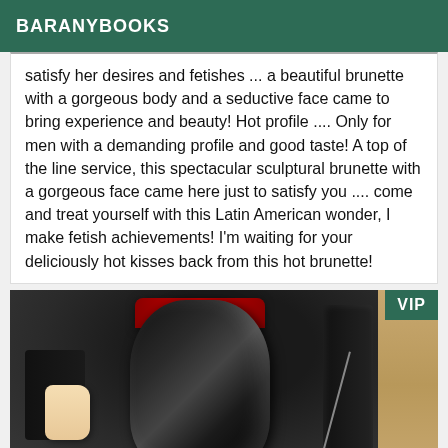BARANYBOOKS
satisfy her desires and fetishes ... a beautiful brunette with a gorgeous body and a seductive face came to bring experience and beauty! Hot profile .... Only for men with a demanding profile and good taste! A top of the line service, this spectacular sculptural brunette with a gorgeous face came here just to satisfy you .... come and treat yourself with this Latin American wonder, I make fetish achievements! I'm waiting for your deliciously hot kisses back from this hot brunette!
[Figure (photo): Photo showing a person in black latex outfit with red accent, partial view, with VIP badge in top right corner]